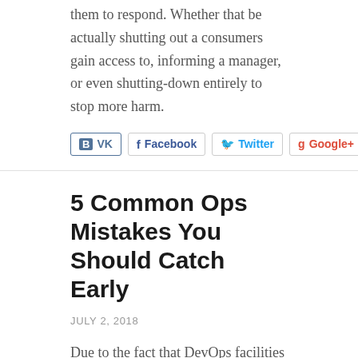them to respond. Whether that be actually shutting out a consumers gain access to, informing a manager, or even shutting-down entirely to stop more harm.
[Figure (other): Social share buttons: VK, Facebook, Twitter, Google+]
5 Common Ops Mistakes You Should Catch Early
JULY 2, 2018
Due to the fact that DevOps facilities around adjustment, as well as steady adjustment at that, it is actually very easy to experience irregularity throughout a venture. No person wishes that, yet preventing it completely is actually certainly not